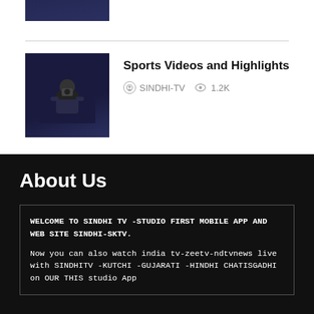[Figure (photo): Small thumbnail image of a person in dark clothing, partially visible at top]
[Figure (photo): Thumbnail image of a person in dark clothes holding a camera, blue background]
Sports Videos and Highlights
SINDHI-TV  1.2K
About Us
WELCOME TO SINDHI TV -STUDIO FIRST MOBILE APP AND WEB SITE SINDHI-SKTV.

Now you can also watch india tv-zeetv-ndtvnews live with SINDHITV -KUTCHI -GUJARATI -HINDHI CHATISGADHI on OUR THIS studio App